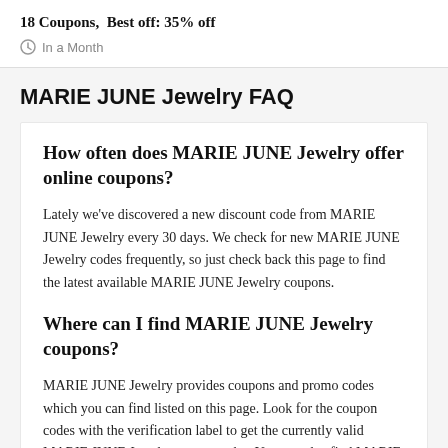18 Coupons,  Best off: 35% off
In a Month
MARIE JUNE Jewelry FAQ
How often does MARIE JUNE Jewelry offer online coupons?
Lately we've discovered a new discount code from MARIE JUNE Jewelry every 30 days. We check for new MARIE JUNE Jewelry codes frequently, so just check back this page to find the latest available MARIE JUNE Jewelry coupons.
Where can I find MARIE JUNE Jewelry coupons?
MARIE JUNE Jewelry provides coupons and promo codes which you can find listed on this page. Look for the coupon codes with the verification label to get the currently valid MARIE JUNE Jewelry promo codes. You can also find MARIE JUNE Jewelry deals and other promotions here.